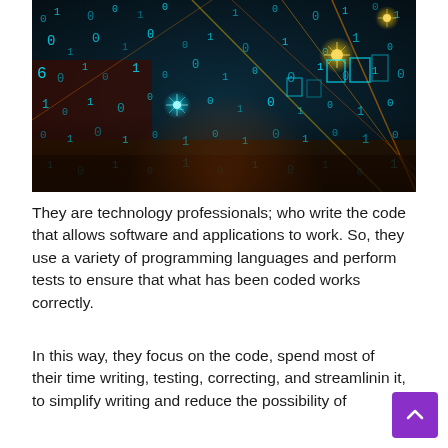[Figure (photo): A digital art photo showing glowing blue binary code numbers floating in a dark 3D matrix-like environment with orange/yellow light streaks and star-burst light effects. Represents technology and programming.]
They are technology professionals; who write the code that allows software and applications to work. So, they use a variety of programming languages and perform tests to ensure that what has been coded works correctly.
In this way, they focus on the code, spend most of their time writing, testing, correcting, and streamlining it, to simplify writing and reduce the possibility of